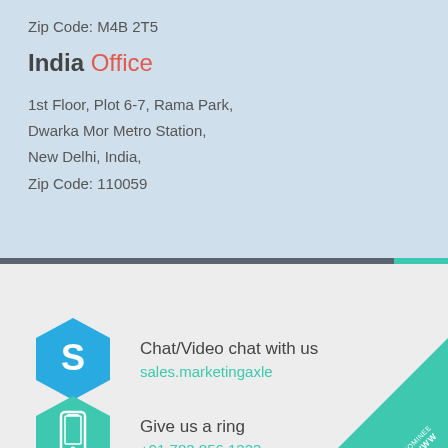Zip Code: M4B 2T5
India Office
1st Floor, Plot 6-7, Rama Park,
Dwarka Mor Metro Station,
New Delhi, India,
Zip Code: 110059
Chat/Video chat with us
sales.marketingaxle
Give us a ring
+91 783 856 1323